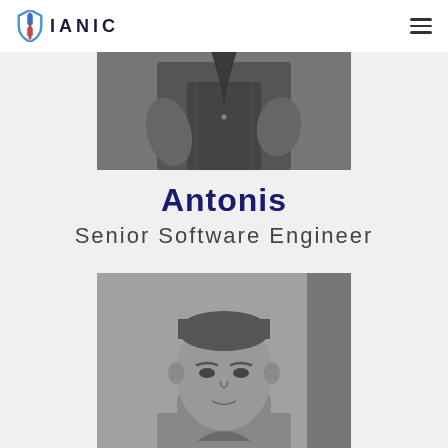IANIC
[Figure (photo): Black and white cropped photo of a person from the torso area, wearing a jacket, visible arms crossed]
Antonis
Senior Software Engineer
[Figure (photo): Black and white portrait photo of a man with short hair looking forward, cropped at the shoulders]